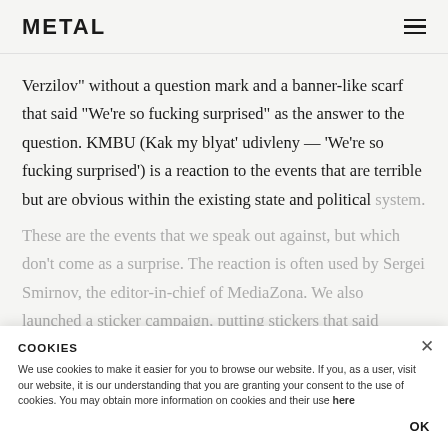METAL
Verzilov" without a question mark and a banner-like scarf that said "We're so fucking surprised" as the answer to the question. KMBU (Kak my blyat' udivleny — 'We're so fucking surprised') is a reaction to the events that are terrible but are obvious within the existing state and political system.

These are the events that we speak out against, but which don't come as a surprise. The reaction is often used by Sergei Smirnov, the editor-in-chief of MediaZona. We also launched a sticker campaign, putting stickers that said "We're so surprised"
COOKIES
We use cookies to make it easier for you to browse our website. If you, as a user, visit our website, it is our understanding that you are granting your consent to the use of cookies. You may obtain more information on cookies and their use here
OK